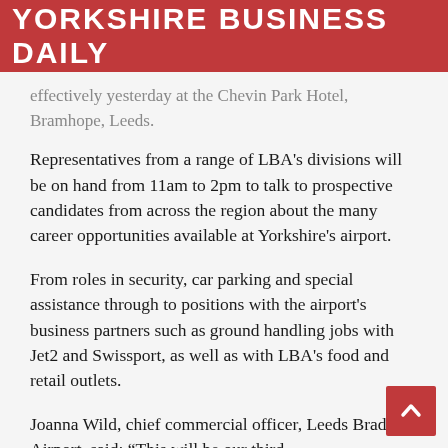YORKSHIRE BUSINESS DAILY
effectively yesterday at the Chevin Park Hotel, Bramhope, Leeds.
Representatives from a range of LBA's divisions will be on hand from 11am to 2pm to talk to prospective candidates from across the region about the many career opportunities available at Yorkshire's airport.
From roles in security, car parking and special assistance through to positions with the airport's business partners such as ground handling jobs with Jet2 and Swissport, as well as with LBA's food and retail outlets.
Joanna Wild, chief commercial officer, Leeds Bradford Airport, said: “This will be our third